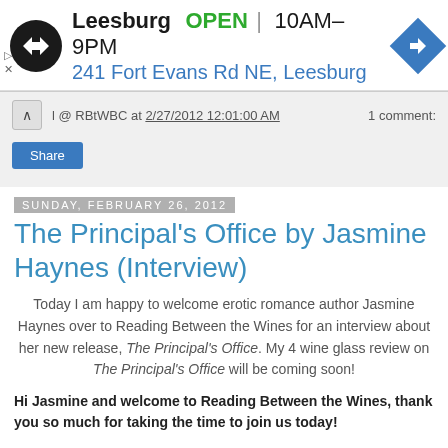[Figure (screenshot): Advertisement banner: circular black logo with double arrow symbol, text 'Leesburg OPEN 10AM-9PM' and '241 Fort Evans Rd NE, Leesburg', blue diamond navigation icon, with play and X corner controls]
l @ RBtWBC at 2/27/2012 12:01:00 AM   1 comment:
Share
Sunday, February 26, 2012
The Principal's Office by Jasmine Haynes (Interview)
Today I am happy to welcome erotic romance author Jasmine Haynes over to Reading Between the Wines for an interview about her new release, The Principal's Office. My 4 wine glass review on The Principal's Office will be coming soon!
Hi Jasmine and welcome to Reading Between the Wines, thank you so much for taking the time to join us today!